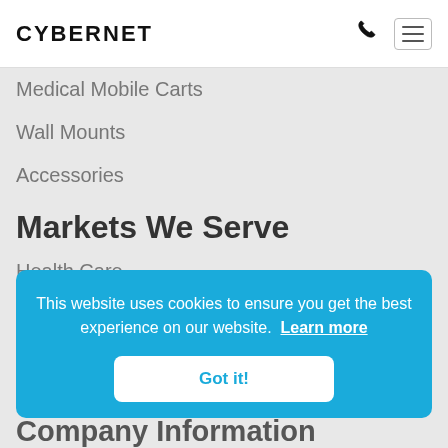CYBERNET
Medical Mobile Carts
Wall Mounts
Accessories
Markets We Serve
Health Care
Epic Compatible Computers
Workstation on Wheels Computers
This website uses cookies to ensure you get the best experience on our website. Learn more
Got it!
Company Information